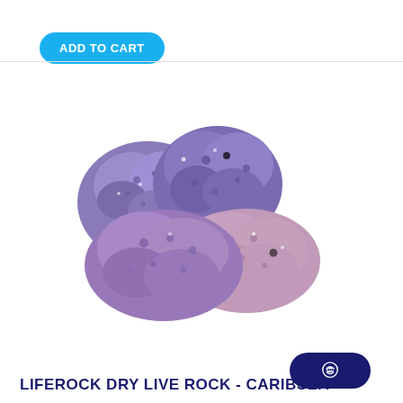ADD TO CART
[Figure (photo): Three pieces of purple/lavender dry live rock (caribsea liferock) with porous texture, clustered together on a white background]
LIFEROCK DRY LIVE ROCK - CARIBSEA